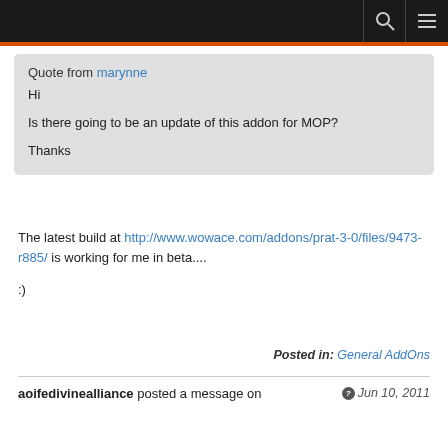Navigation bar with search and menu icons
Quote from marynne
Hi

Is there going to be an update of this addon for MOP?

Thanks
The latest build at http://www.wowace.com/addons/prat-3-0/files/9473-r885/ is working for me in beta....

:)
Posted in: General AddOns
aoifedivinealliance posted a message on
Jun 10, 2011